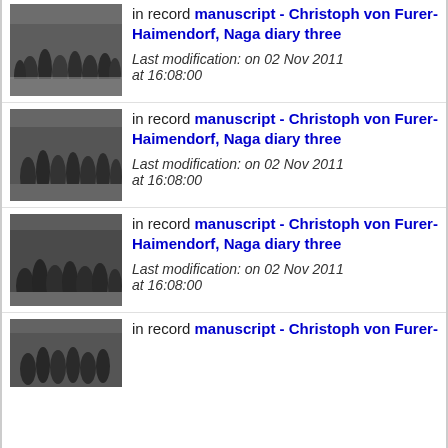[Figure (photo): Black and white photograph of Naga tribal people in traditional dress, standing in a group outdoors.]
in record manuscript - Christoph von Furer-Haimendorf, Naga diary three
Last modification: on 02 Nov 2011 at 16:08:00
[Figure (photo): Black and white photograph of Naga tribal people in traditional dress, standing in a group outdoors.]
in record manuscript - Christoph von Furer-Haimendorf, Naga diary three
Last modification: on 02 Nov 2011 at 16:08:00
[Figure (photo): Black and white photograph of Naga tribal people in traditional dress, standing in a group outdoors.]
in record manuscript - Christoph von Furer-Haimendorf, Naga diary three
Last modification: on 02 Nov 2011 at 16:08:00
[Figure (photo): Black and white photograph of Naga tribal people in traditional dress, partially visible at bottom of page.]
in record manuscript - Christoph von Furer-